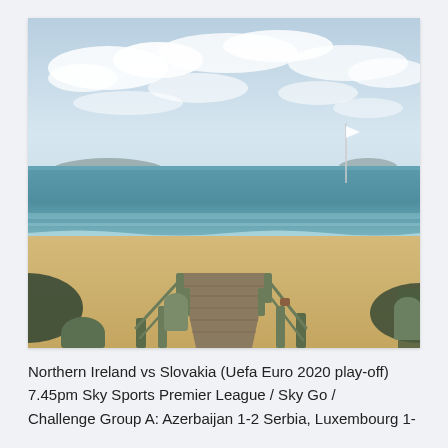[Figure (photo): A wooden boardwalk/steps leading down to a sandy beach with calm turquoise sea, distant hills on the horizon, and a partly cloudy sky. A white flag on a pole is visible on the right side.]
Northern Ireland vs Slovakia (Uefa Euro 2020 play-off) 7.45pm Sky Sports Premier League / Sky Go / Challenge Group A: Azerbaijan 1-2 Serbia, Luxembourg 1-